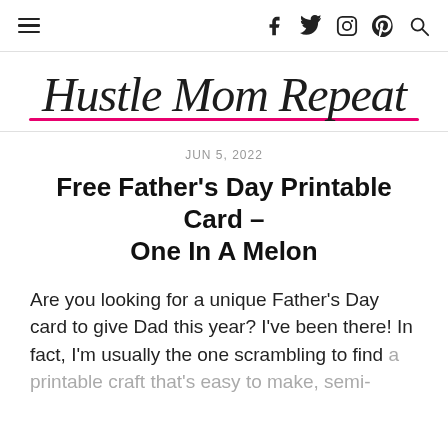≡  f  𝕏  ◉  p  🔍
[Figure (logo): Hustle Mom Repeat cursive handwritten logo with pink underline stroke]
JUN 5, 2022
Free Father's Day Printable Card – One In A Melon
Are you looking for a unique Father's Day card to give Dad this year? I've been there! In fact, I'm usually the one scrambling to find a printable craft that's easy to make, semi-